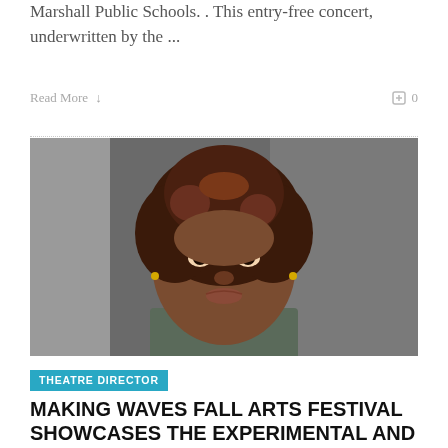Marshall Public Schools. . This entry-free concert, underwritten by the ...
Read More  0  0
[Figure (photo): Headshot of a young Black woman with natural auburn curly hair, wearing a dark tank top, looking directly at camera against a grey background]
THEATRE DIRECTOR
MAKING WAVES FALL ARTS FESTIVAL SHOWCASES THE EXPERIMENTAL AND DEVELOPMENTAL WORK OF SEATTLE ARTISTS